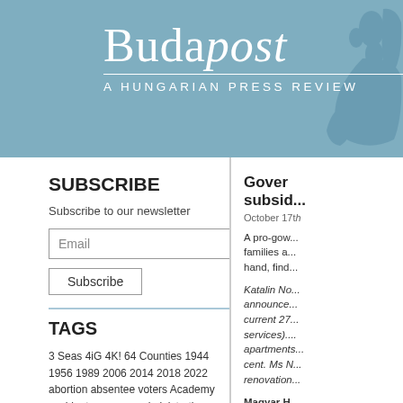[Figure (logo): Budapost logo with 'A HUNGARIAN PRESS REVIEW' subtitle on blue-grey banner with Europe map silhouette]
SUBSCRIBE
Subscribe to our newsletter
TAGS
3 Seas 4iG 4K! 64 Counties 1944 1956 1989 2006 2014 2018 2022 abortion absentee voters Academy accident aconomy administration advertising Ady AfD Afghanistan agriculutre airlines alt-left Antall anti-Semitism arms deals Arrow-Cross Article 7 Athletic World
Gover... subsid...
October 17th
A pro-gow... families a... hand, find...
Katalin No... announce... current 27... services).... apartments... cent. Ms N... renovation...
Magyar H... that the ne... economy... best to he...